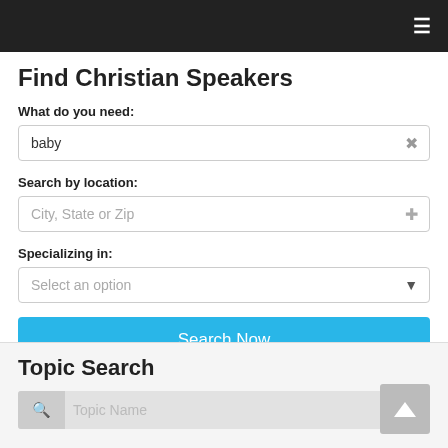≡
Find Christian Speakers
What do you need:
baby
Search by location:
City, State or Zip
Specializing in:
Select an option
Search Now
Topic Search
Topic Name